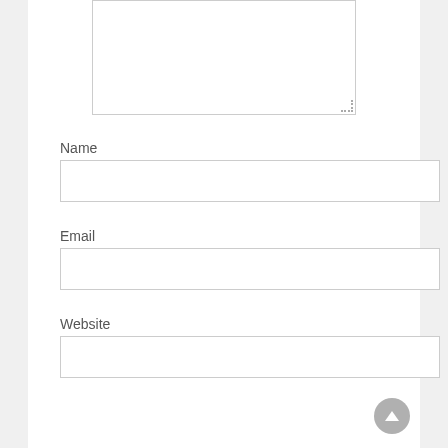[Figure (screenshot): Comment form textarea (top portion, partially visible, with resize handle at bottom right)]
Name
[Figure (screenshot): Name input field (empty text box)]
Email
[Figure (screenshot): Email input field (empty text box)]
Website
[Figure (screenshot): Website input field (empty text box)]
[Figure (screenshot): Post Comment button (blue) and scroll-to-top circular button (grey)]